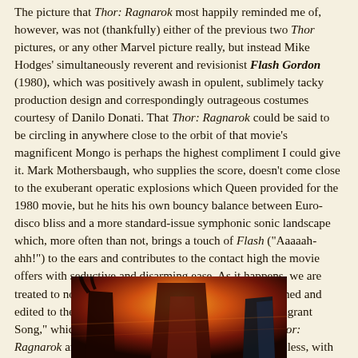The picture that Thor: Ragnarok most happily reminded me of, however, was not (thankfully) either of the previous two Thor pictures, or any other Marvel picture really, but instead Mike Hodges' simultaneously reverent and revisionist Flash Gordon (1980), which was positively awash in opulent, sublimely tacky production design and correspondingly outrageous costumes courtesy of Danilo Donati. That Thor: Ragnarok could be said to be circling in anywhere close to the orbit of that movie's magnificent Mongo is perhaps the highest compliment I could give it. Mark Mothersbaugh, who supplies the score, doesn't come close to the exuberant operatic explosions which Queen provided for the 1980 movie, but he hits his own bouncy balance between Euro-disco bliss and a more standard-issue symphonic sonic landscape which, more often than not, brings a touch of Flash ("Aaaaah-ahh!") to the ears and contributes to the contact high the movie offers with seductive and disarming ease. As it happens, we are treated to not one, but two action sequences choreographed and edited to the sonic thunder of Led Zeppelin's "The Immigrant Song," which serves the same function, and that gets Thor: Ragnarok an "Aaah-aaah-aah Aah!" of its own, more or less, with which to link back to Queen's kitschy Flash Gordon theme.
[Figure (photo): Bottom portion of a Thor: Ragnarok movie poster showing stylized characters against a fiery orange and red background with dramatic lighting.]